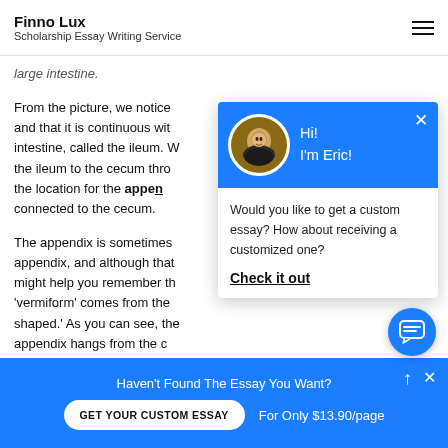Finno Lux
Scholarship Essay Writing Service
large intestine.
From the picture, we notice h and that it is continuous with intestine, called the ileum. W the ileum to the cecum through the location for the appendix connected to the cecum.
[Figure (screenshot): Chat popup overlay with blue header showing avatar and greeting 'Hi! I'm Eric!' followed by text 'Would you like to get a custom essay? How about receiving a customized one?' and a 'Check it out' link]
The appendix is sometimes appendix, and although that might help you remember the 'vermiform' comes from the shaped.' As you can see, the appendix hangs from the c
Haven't Found The Essay You Want?
GET YOUR CUSTOM ESSAY
For Only $13.90/page